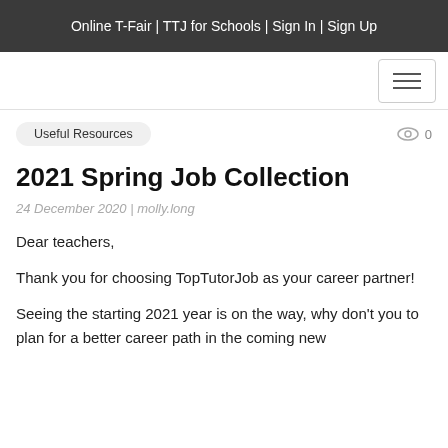Online T-Fair | TTJ for Schools | Sign In | Sign Up
Useful Resources
0
2021 Spring Job Collection
24 December 2020 | molly.long
Dear teachers,
Thank you for choosing TopTutorJob as your career partner!
Seeing the starting 2021 year is on the way, why don't you to plan for a better career path in the coming new